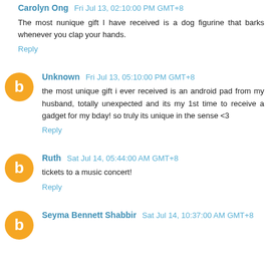Carolyn Ong  Fri Jul 13, 02:10:00 PM GMT+8
The most nunique gift I have received is a dog figurine that barks whenever you clap your hands.
Reply
Unknown  Fri Jul 13, 05:10:00 PM GMT+8
the most unique gift i ever received is an android pad from my husband, totally unexpected and its my 1st time to receive a gadget for my bday! so truly its unique in the sense <3
Reply
Ruth  Sat Jul 14, 05:44:00 AM GMT+8
tickets to a music concert!
Reply
Seyma Bennett Shabbir  Sat Jul 14, 10:37:00 AM GMT+8